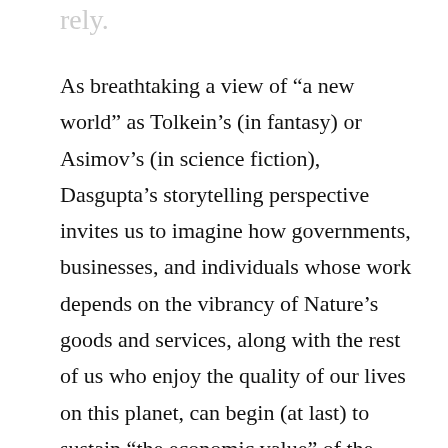rely.
As breathtaking a view of “a new world” as Tolkein’s (in fantasy) or Asimov’s (in science fiction), Dasgupta’s storytelling perspective invites us to imagine how governments, businesses, and individuals whose work depends on the vibrancy of Nature’s goods and services, along with the rest of us who enjoy the quality of our lives on this planet, can begin (at last) to sustain “the economic value” of the Earth’s biodiversity for everyone’s benefit. As surprising as it might seem, there has never been anything quite like The Review before.